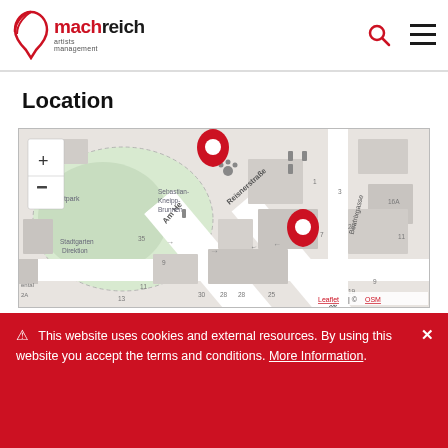machreich artists management
Location
[Figure (map): OpenStreetMap leaflet map showing a Vienna neighborhood with two red location pin markers. Streets visible include Am Heumarkt, Reisnerstraße, Beatrixgasse. Map controls show + and - zoom buttons. Bottom right attribution reads 'Leaflet | © OSM'. Area features Stadtgarten Direktion, Sebastian-Kneipp-Brunnen, and various building blocks with street numbers.]
⚠ This website uses cookies and external resources. By using this website you accept the terms and conditions. More Information. ✕